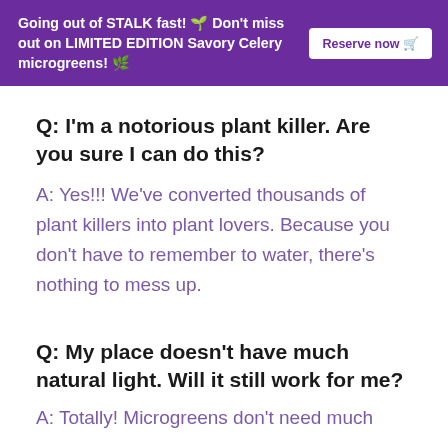Going out of STALK fast! 🌱 Don't miss out on LIMITED EDITION Savory Celery microgreens! 🌿 Reserve now 🛒
Q: I'm a notorious plant killer. Are you sure I can do this?
A: Yes!!! We've converted thousands of plant killers into plant lovers. Because you don't have to remember to water, there's nothing to mess up.
Q: My place doesn't have much natural light. Will it still work for me?
A: Totally! Microgreens don't need much